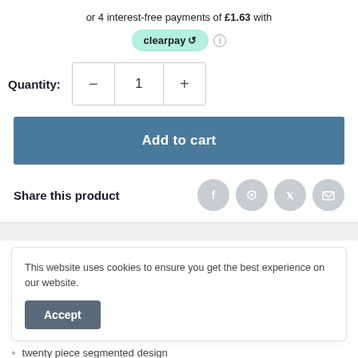or 4 interest-free payments of £1.63 with
[Figure (logo): Clearpay logo badge with teal/mint background and curved arrow symbol]
Quantity: 1
Add to cart
Share this product
[Figure (infographic): Social share icons: Facebook, Pinterest, Twitter, Email in grey circles]
This website uses cookies to ensure you get the best experience on our website.
Accept
twenty piece segmented design